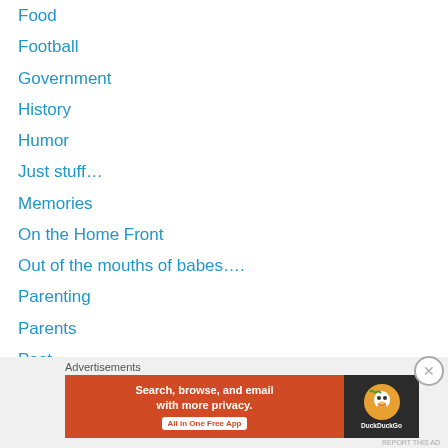Food
Football
Government
History
Humor
Just stuff…
Memories
On the Home Front
Out of the mouths of babes….
Parenting
Parents
Past
Pets
Reflection
Religion
Science
Sewing
Advertisements
[Figure (screenshot): DuckDuckGo advertisement banner: orange background with text 'Search, browse, and email with more privacy. All in One Free App' and DuckDuckGo logo on dark background]